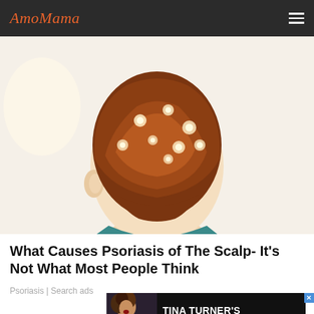AmoMama
[Figure (illustration): Illustration of the back of a person's head with reddish-brown scalp showing psoriasis plaques with bright spots, wearing a teal shirt. Background is pale cream/white.]
What Causes Psoriasis of The Scalp- It's Not What Most People Think
Psoriasis | Search ads
[Figure (photo): Advertisement banner showing a woman with curly hair on the left side and text 'TINA TURNER'S PERSONAL TRAGEDY' on dark background with AmoMama logo.]